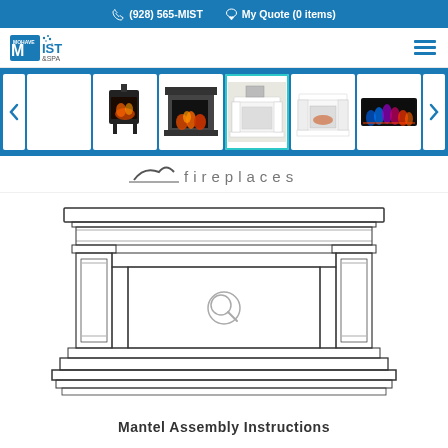(928) 565-MIST   My Quote (0 items)
[Figure (logo): Mohave Mist & Spa logo with blue text and water droplet graphic]
[Figure (screenshot): Carousel of fireplace product thumbnails: wood stove with orange flames, dark mantel with lit fireplace insert, white mantel fireplace in room setting (selected/active), white mantel with fireplace, wide rectangular wall-mount fireplace with colorful flames]
[Figure (logo): Fireplaces brand logo swoosh with lowercase 'fireplaces' text]
[Figure (engineering-diagram): Line drawing / technical illustration of a large traditional wood mantel fireplace surround with columns, decorative molding, and recessed firebox opening]
Mantel Assembly Instructions